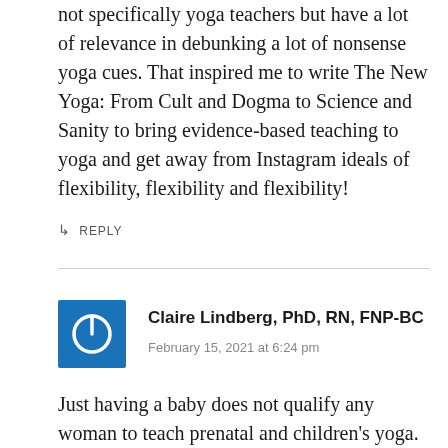not specifically yoga teachers but have a lot of relevance in debunking a lot of nonsense yoga cues. That inspired me to write The New Yoga: From Cult and Dogma to Science and Sanity to bring evidence-based teaching to yoga and get away from Instagram ideals of flexibility, flexibility and flexibility!
↳ REPLY
[Figure (illustration): Blue square avatar with white power button icon]
Claire Lindberg, PhD, RN, FNP-BC
February 15, 2021 at 6:24 pm
Just having a baby does not qualify any woman to teach prenatal and children's yoga.